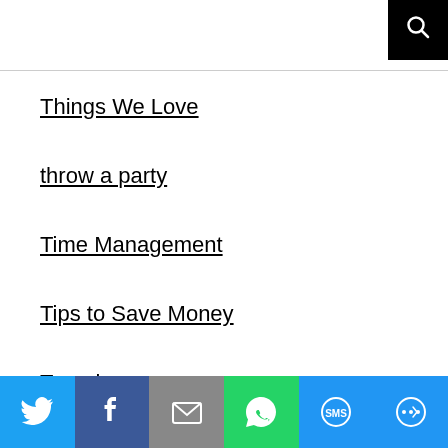Search icon
Things We Love
throw a party
Time Management
Tips to Save Money
Travel
Traveling
Trim
truebill
Twigby review
Uncategorized
Uncertainty & Discomfort
[Figure (infographic): Social share bar with icons for Twitter, Facebook, Email, WhatsApp, SMS, and More]